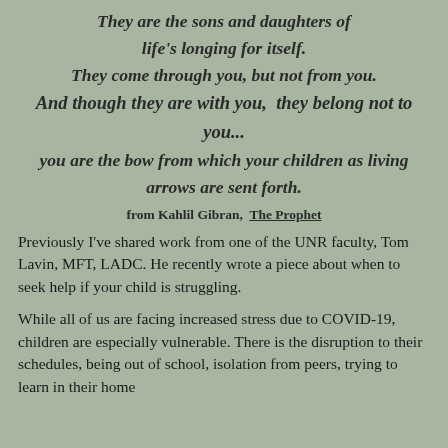They are the sons and daughters of life's longing for itself. They come through you, but not from you. And though they are with you,  they belong not to you... you are the bow from which your children as living arrows are sent forth.
from Kahlil Gibran,  The Prophet
Previously I've shared work from one of the UNR faculty, Tom Lavin, MFT, LADC. He recently wrote a piece about when to seek help if your child is struggling.
While all of us are facing increased stress due to COVID-19, children are especially vulnerable. There is the disruption to their schedules, being out of school, isolation from peers, trying to learn in their home